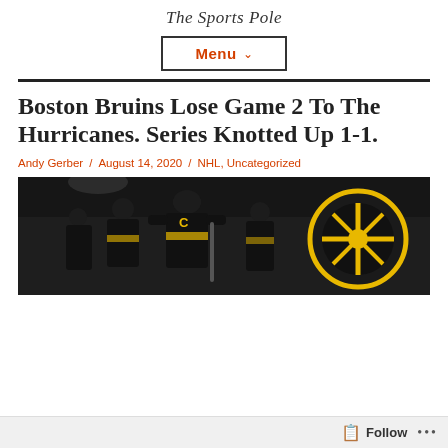The Sports Pole
Menu ∨
Boston Bruins Lose Game 2 To The Hurricanes. Series Knotted Up 1-1.
Andy Gerber / August 14, 2020 / NHL, Uncategorized
[Figure (photo): Boston Bruins players in black and gold jerseys walking in tunnel/corridor area, with a large Bruins logo (black circle with yellow spoked wheel) visible on the wall behind them.]
Follow ...